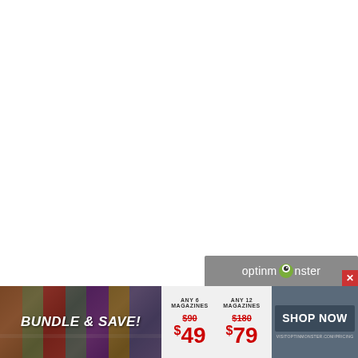[Figure (other): OptinMonster popup/widget logo bar with grey background]
[Figure (photo): Magazine bundle promotional banner with dark background showing magazine covers]
BUNDLE & SAVE!
ANY 6 MAGAZINES $90 $49
ANY 12 MAGAZINES $180 $79
SHOP NOW